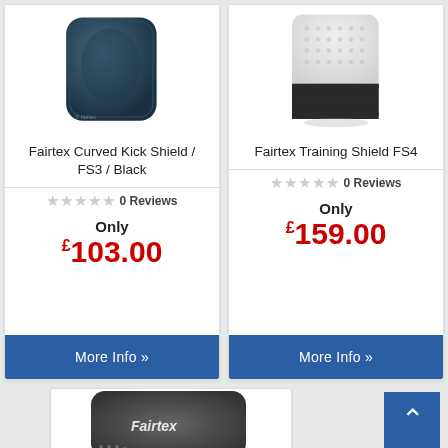[Figure (photo): Fairtex Curved Kick Shield FS3 Black - dark navy blue padded shield]
Fairtex Curved Kick Shield / FS3 / Black
★★★★★ 0 Reviews
Only £103.00
More Info »
[Figure (photo): Fairtex Training Shield FS4 - white with grey bottom, rectangular padded shield]
Fairtex Training Shield FS4
★★★★★ 0 Reviews
Only £159.00
More Info »
[Figure (photo): Fairtex curved kick pad - dark grey with white Fairtex logo and floral pattern at bottom, partially visible]